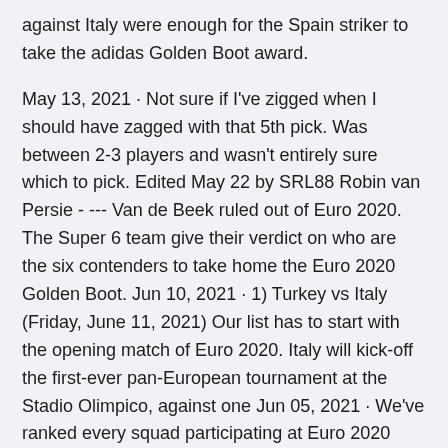against Italy were enough for the Spain striker to take the adidas Golden Boot award.
May 13, 2021 · Not sure if I've zigged when I should have zagged with that 5th pick. Was between 2-3 players and wasn't entirely sure which to pick. Edited May 22 by SRL88 Robin van Persie - --- Van de Beek ruled out of Euro 2020. The Super 6 team give their verdict on who are the six contenders to take home the Euro 2020 Golden Boot. Jun 10, 2021 · 1) Turkey vs Italy (Friday, June 11, 2021) Our list has to start with the opening match of Euro 2020. Italy will kick-off the first-ever pan-European tournament at the Stadio Olimpico, against one Jun 05, 2021 · We've ranked every squad participating at Euro 2020 based on their cumulative worth on Transfermarkt from lowest to highest..